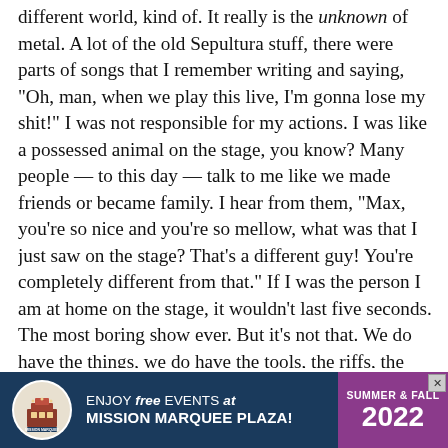different world, kind of. It really is the unknown of metal. A lot of the old Sepultura stuff, there were parts of songs that I remember writing and saying, "Oh, man, when we play this live, I'm gonna lose my shit!" I was not responsible for my actions. I was like a possessed animal on the stage, you know? Many people — to this day — talk to me like we made friends or became family. I hear from them, "Max, you're so nice and you're so mellow, what was that I just saw on the stage? That's a different guy! You're completely different from that." If I was the person I am at home on the stage, it wouldn't last five seconds. The most boring show ever. But it's not that. We do have the things, we do have the tools, the riffs, the parts, the breakdowns, the fast parts, all that stuff that can make you feel the possession come to life. I love that. That's a good question. I haven't been asked that before. I want people to be aware of my mom's religion and the connection I had through that. The hardest thing to
[Figure (infographic): Advertisement banner for Mission Marquee Plaza. Dark navy background with circular logo on left, white text 'ENJOY free EVENTS at MISSION MARQUEE PLAZA!' in center, and purple section on right reading 'SUMMER & FALL 2022'. Small X close button in upper right corner.]